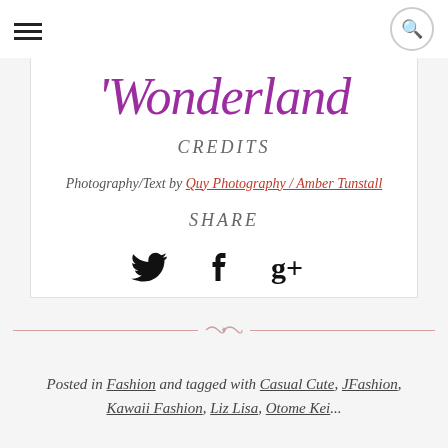Navigation header with hamburger menu and search icon
Wonderland
CREDITS
Photography/Text by Quy Photography / Amber Tunstall
SHARE
[Figure (infographic): Social media share icons: Twitter bird, Facebook f, Google+ g+]
Posted in Fashion and tagged with Casual Cute, JFashion, Kawaii Fashion, Liz Lisa, Otome Kei...